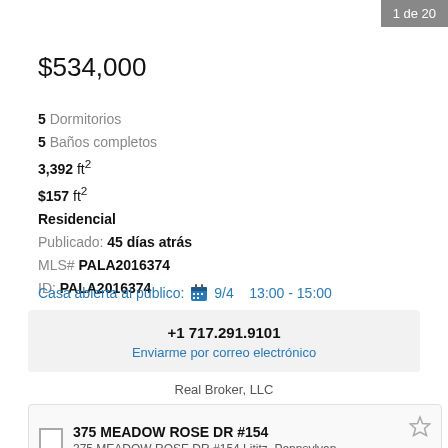1 de 20
$534,000
5 Dormitorios
5 Baños completos
3,392 ft²
$157 ft²
Residencial
Publicado: 45 días atrás
MLS# PALA2016374
ID: PALA2016374
Casa abierta al público: 9/4  13:00 - 15:00
+1 717.291.9101
Enviarme por correo electrónico
Real Broker, LLC
375 MEADOW ROSE DR #154
375 MEADOW ROSE DR #154 Lititz, Pennsylvan...